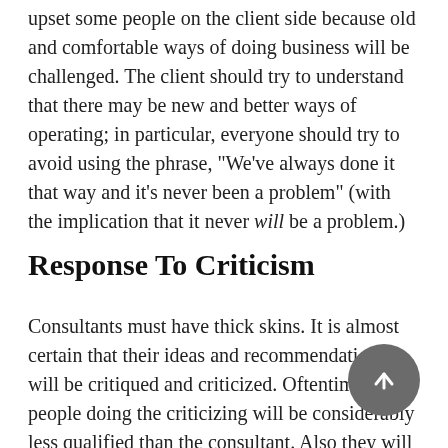upset some people on the client side because old and comfortable ways of doing business will be challenged. The client should try to understand that there may be new and better ways of operating; in particular, everyone should try to avoid using the phrase, "We've always done it that way and it's never been a problem" (with the implication that it never will be a problem.)
Response To Criticism
Consultants must have thick skins. It is almost certain that their ideas and recommendations will be critiqued and criticized. Oftentimes, the people doing the criticizing will be considerably less qualified than the consultant. Also they will have spent less time studying the problem being analyzed, and will probably have motives and agendas of their